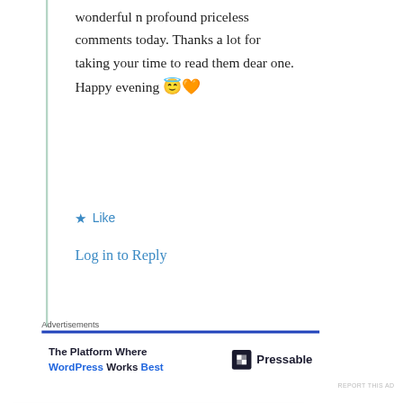wonderful n profound priceless comments today. Thanks a lot for taking your time to read them dear one. Happy evening 😇🧡
★ Like
Log in to Reply
Advertisements
[Figure (other): Pressable advertisement: 'The Platform Where WordPress Works Best' with Pressable logo]
REPORT THIS AD
Privacy & Cookies: This site uses cookies. By continuing to use this website, you agree to their use.
To find out more, including how to control cookies, see here: Cookie Policy
Close and accept